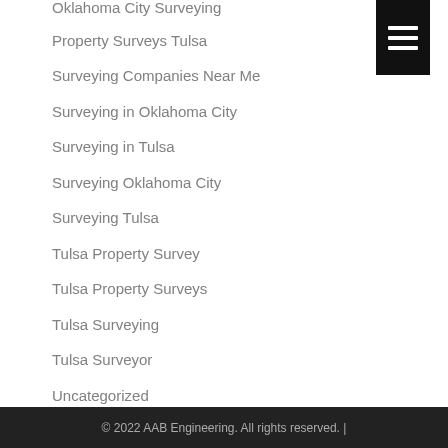[Figure (other): Black hamburger menu button with three white horizontal lines]
Oklahoma City Surveying
Property Surveys Tulsa
Surveying Companies Near Me
Surveying in Oklahoma City
Surveying in Tulsa
Surveying Oklahoma City
Surveying Tulsa
Tulsa Property Survey
Tulsa Property Surveys
Tulsa Surveying
Tulsa Surveyor
Uncategorized
© 2022 AAB Engineering. All rights reserved. |